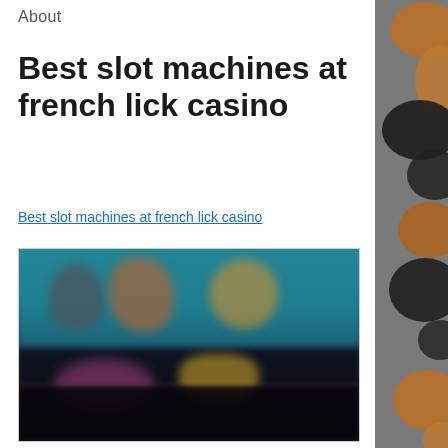About
Best slot machines at french lick casino
Best slot machines at french lick casino
[Figure (photo): Blurred screenshot of a casino slot machine game interface showing colorful character graphics and game menu items on a dark background]